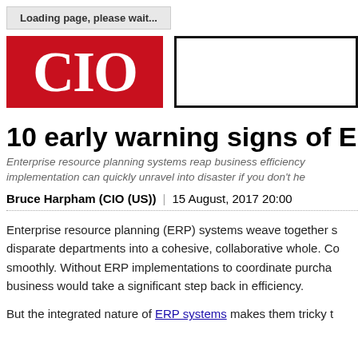Loading page, please wait...
[Figure (logo): CIO magazine logo — white text 'CIO' on red background]
[Figure (other): Advertisement placeholder box with thick black border]
10 early warning signs of ER
Enterprise resource planning systems reap business efficiency implementation can quickly unravel into disaster if you don't he
Bruce Harpham (CIO (US)) | 15 August, 2017 20:00
Enterprise resource planning (ERP) systems weave together disparate departments into a cohesive, collaborative whole. Co smoothly. Without ERP implementations to coordinate purcha business would take a significant step back in efficiency.
But the integrated nature of ERP systems makes them tricky t